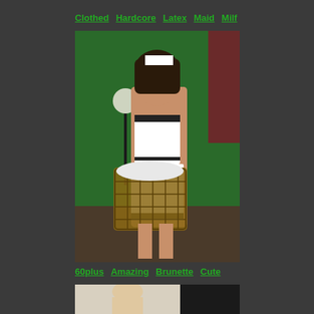Clothed  Hardcore  Latex  Maid  Milf
[Figure (photo): Woman in maid costume holding laundry basket in front of green wall]
60plus  Amazing  Brunette  Cute
[Figure (photo): Partial view of person at bottom of page]